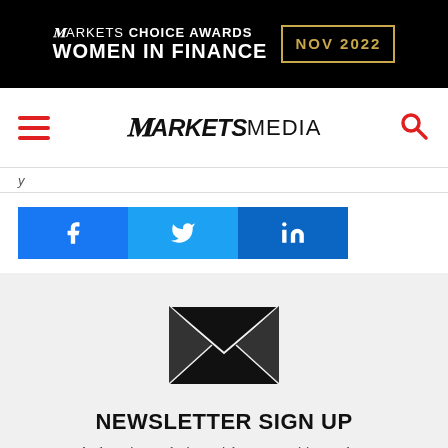[Figure (logo): Markets Choice Awards Women in Finance NOV 2022 banner advertisement on black background with gold border date box]
MARKETSMEDIA
y
[Figure (infographic): Social share buttons: Facebook (blue), Twitter (light blue), LinkedIn (dark blue) with respective icons]
[Figure (infographic): Envelope/mail icon in black representing newsletter signup]
NEWSLETTER SIGN UP
And receive exclusive articles on securities markets